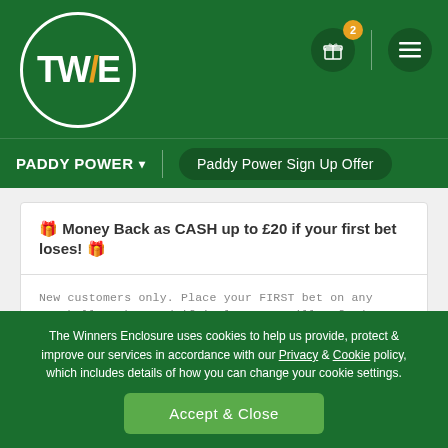[Figure (logo): TWE logo in a circle on green header background]
PADDY POWER ▾    Paddy Power Sign Up Offer
🎁 Money Back as CASH up to £20 if your first bet loses! 🎁
New customers only. Place your FIRST bet on any Football market and if it loses we will refund your stake in CASH. Max refund for this offer is £20. Only deposits made using cards will qualify for this promotion. T&Cs apply.
Claim Bonus
The Winners Enclosure uses cookies to help us provide, protect & improve our services in accordance with our Privacy & Cookie policy, which includes details of how you can change your cookie settings.
Accept & Close